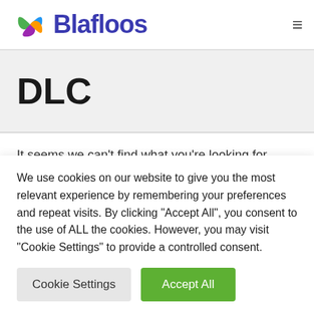[Figure (logo): Blafloos logo with colorful swirl icon and bold blue text]
DLC
It seems we can't find what you're looking for. Perhaps searching
We use cookies on our website to give you the most relevant experience by remembering your preferences and repeat visits. By clicking "Accept All", you consent to the use of ALL the cookies. However, you may visit "Cookie Settings" to provide a controlled consent.
Cookie Settings | Accept All